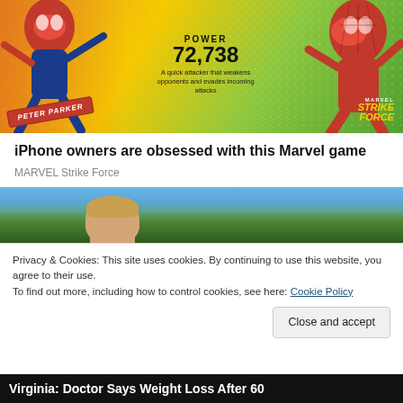[Figure (illustration): Marvel Strike Force advertisement banner featuring Spider-Man characters (Peter Parker). Text reads POWER 72,738 and 'A quick attacker that weakens opponents and evades incoming attacks'. PETER PARKER badge visible. Marvel Strike Force logo in corner.]
iPhone owners are obsessed with this Marvel game
MARVEL Strike Force
[Figure (photo): Photo of a person outdoors with trees and blue sky in background]
Privacy & Cookies: This site uses cookies. By continuing to use this website, you agree to their use.
To find out more, including how to control cookies, see here: Cookie Policy
Close and accept
Virginia: Doctor Says Weight Loss After 60